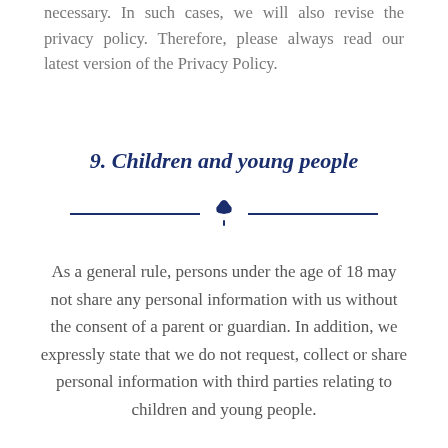necessary. In such cases, we will also revise the privacy policy. Therefore, please always read our latest version of the Privacy Policy.
9. Children and young people
[Figure (illustration): Decorative divider with two horizontal lines and a small shamrock/clover icon in dark navy blue in the center]
As a general rule, persons under the age of 18 may not share any personal information with us without the consent of a parent or guardian. In addition, we expressly state that we do not request, collect or share personal information with third parties relating to children and young people.